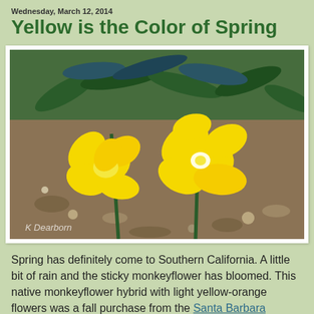Wednesday, March 12, 2014
Yellow is the Color of Spring
[Figure (photo): Two bright yellow sticky monkeyflowers blooming against green foliage and sandy/rocky soil. Watermark reads 'K Dearborn' in lower left.]
Spring has definitely come to Southern California. A little bit of rain and the sticky monkeyflower has bloomed. This native monkeyflower hybrid with light yellow-orange flowers was a fall purchase from the Santa Barbara Botanical Garden